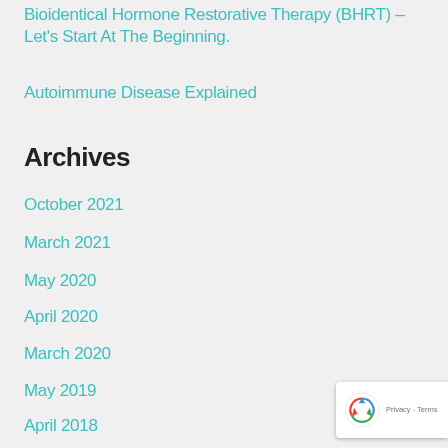Bioidentical Hormone Restorative Therapy (BHRT) – Let's Start At The Beginning.
Autoimmune Disease Explained
Archives
October 2021
March 2021
May 2020
April 2020
March 2020
May 2019
April 2018
August 2017
July 2017